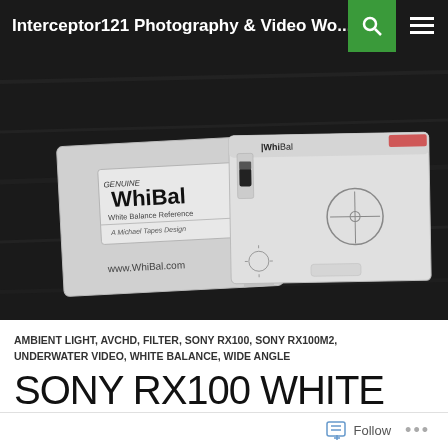Interceptor121 Photography & Video Wo...
[Figure (photo): WhiBal white balance reference card shown partially out of its sleeve/pouch on a dark wooden surface. The card shows 'WhiBal - White Balance Reference - A Michael Tapes Design - www.WhiBal.com' text on the sleeve, and the card itself with targeting circle and logo is visible to the right.]
AMBIENT LIGHT, AVCHD, FILTER, SONY RX100, SONY RX100M2, UNDERWATER VIDEO, WHITE BALANCE, WIDE ANGLE
SONY RX100 WHITE